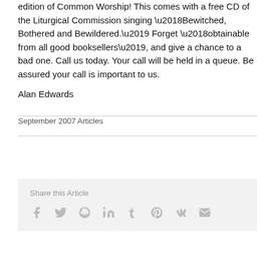edition of Common Worship! This comes with a free CD of the Liturgical Commission singing ‘Bewitched, Bothered and Bewildered.’ Forget ‘obtainable from all good booksellers’, and give a chance to a bad one. Call us today. Your call will be held in a queue. Be assured your call is important to us.
Alan Edwards
September 2007 Articles
Share this Article